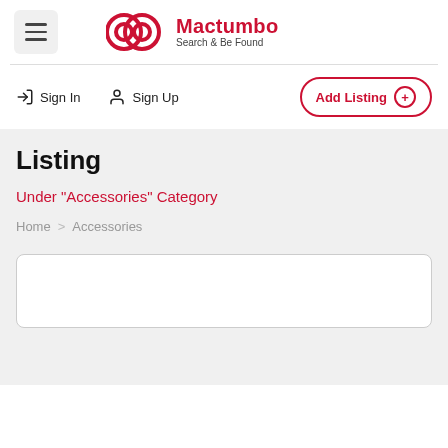[Figure (logo): Mactumbo logo with two overlapping circles in red and tagline 'Search & Be Found']
Sign In
Sign Up
Add Listing
Listing
Under "Accessories" Category
Home > Accessories